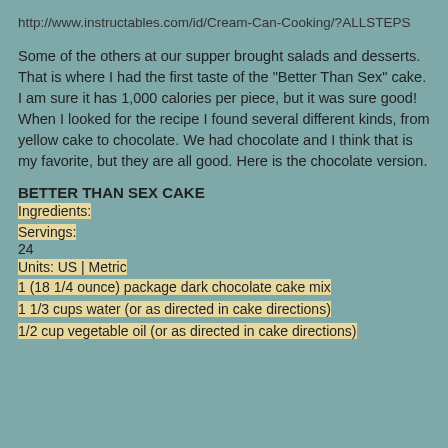http://www.instructables.com/id/Cream-Can-Cooking/?ALLSTEPS
Some of the others at our supper brought salads and desserts. That is where I had the first taste of the "Better Than Sex" cake. I am sure it has 1,000 calories per piece, but it was sure good! When I looked for the recipe I found several different kinds, from yellow cake to chocolate. We had chocolate and I think that is my favorite, but they are all good. Here is the chocolate version.
BETTER THAN SEX CAKE
Ingredients:
Servings:
24
Units: US | Metric
1 (18 1/4 ounce) package dark chocolate cake mix
1 1/3 cups water (or as directed in cake directions)
1/2 cup vegetable oil (or as directed in cake directions)